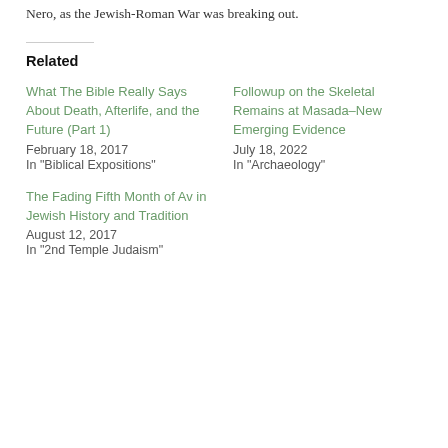Nero, as the Jewish-Roman War was breaking out.
Related
What The Bible Really Says About Death, Afterlife, and the Future (Part 1)
February 18, 2017
In "Biblical Expositions"
Followup on the Skeletal Remains at Masada–New Emerging Evidence
July 18, 2022
In "Archaeology"
The Fading Fifth Month of Av in Jewish History and Tradition
August 12, 2017
In "2nd Temple Judaism"